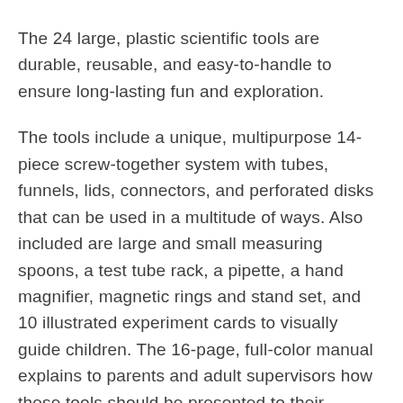The 24 large, plastic scientific tools are durable, reusable, and easy-to-handle to ensure long-lasting fun and exploration.
The tools include a unique, multipurpose 14-piece screw-together system with tubes, funnels, lids, connectors, and perforated disks that can be used in a multitude of ways. Also included are large and small measuring spoons, a test tube rack, a pipette, a hand magnifier, magnetic rings and stand set, and 10 illustrated experiment cards to visually guide children. The 16-page, full-color manual explains to parents and adult supervisors how these tools should be presented to their children and gives insight into a child's developmental stages.
Start laying the groundwork for strong STEM related skills and comprehension. This kit helps develop fine